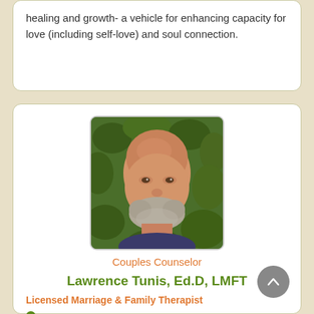healing and growth- a vehicle for enhancing capacity for love (including self-love) and soul connection.
[Figure (photo): Portrait photo of Lawrence Tunis, an older bald man with a grey beard, smiling, against a green leafy background]
Couples Counselor
Lawrence Tunis, Ed.D, LMFT
Licensed Marriage & Family Therapist
In 94533 - Nearby to Contra Costa Centre.